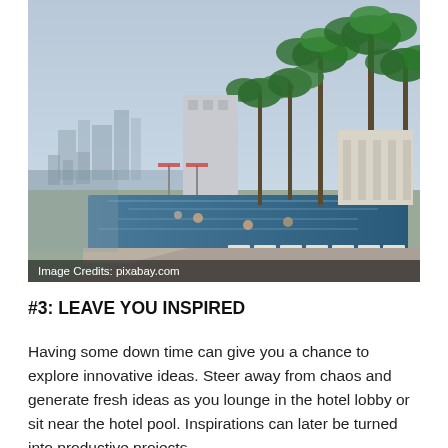[Figure (photo): Aerial rooftop infinity pool at Marina Bay Sands, Singapore, with palm trees, lounge chairs, swimmers, and a panoramic city skyline view in the background. Hazy sky above.]
Image Credits: pixabay.com
#3: LEAVE YOU INSPIRED
Having some down time can give you a chance to explore innovative ideas. Steer away from chaos and generate fresh ideas as you lounge in the hotel lobby or sit near the hotel pool. Inspirations can later be turned into productive projects.